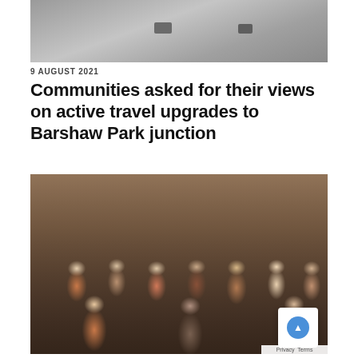[Figure (photo): Aerial/overhead photo of a road junction or pavement surface in greyscale]
9 AUGUST 2021
Communities asked for their views on active travel upgrades to Barshaw Park junction
[Figure (photo): Group photo of approximately 13 women seated and standing in an indoor community setting, smiling at camera]